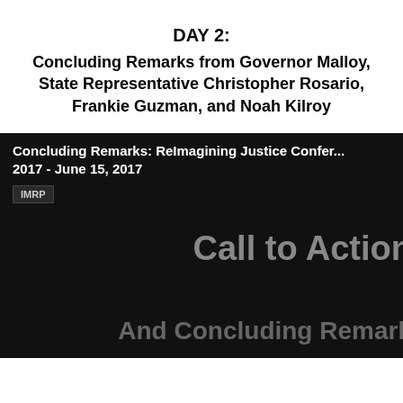DAY 2: Concluding Remarks from Governor Malloy, State Representative Christopher Rosario, Frankie Guzman, and Noah Kilroy
[Figure (screenshot): Video thumbnail with dark/black background showing text: 'Concluding Remarks: ReImagining Justice Conference 2017 - June 15, 2017', an IMRP badge, 'Call to Action' in large grey text, and 'And Concluding Remark' partially visible at the bottom.]